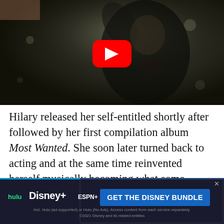[Figure (screenshot): YouTube video thumbnail showing a woman with dark hair in a dramatic pose against a dark background, with a red YouTube play button overlay in the center]
Hilary released her self-entitled shortly after followed by her first compilation album Most Wanted. She soon later turned back to acting and at the same time reinvented herself musically becoming what some would consider a sex symbol with her songs "With
[Figure (screenshot): Disney Bundle advertisement banner showing Hulu, Disney+, and ESPN+ logos with a blue 'GET THE DISNEY BUNDLE' call-to-action button and fine print text]